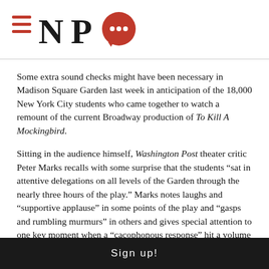NPQ logo
Some extra sound checks might have been necessary in Madison Square Garden last week in anticipation of the 18,000 New York City students who came together to watch a remount of the current Broadway production of To Kill A Mockingbird.
Sitting in the audience himself, Washington Post theater critic Peter Marks recalls with some surprise that the students “sat in attentive delegations on all levels of the Garden through the nearly three hours of the play.” Marks notes laughs and “supportive applause” in some points of the play and “gasps and rumbling murmurs” in others and gives special attention to one key moment when a “cacophonous response” hit a volume he had never heard previously
Sign up!